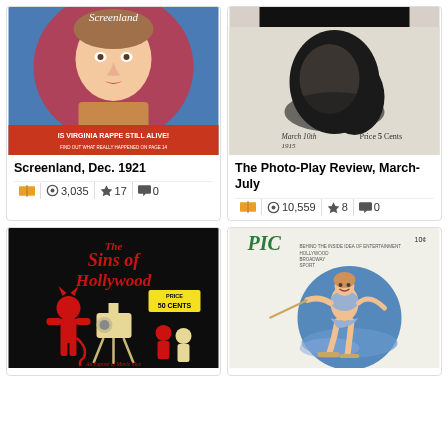[Figure (screenshot): Grid of 4 magazine covers from Internet Archive. Top-left: Screenland Dec 1921 showing a woman in colorful costume with text IS VIRGINIA RAPPE STILL ALIVE. Top-right: The Photo-Play Review March-July showing a black and white portrait with Price 5 Cents. Bottom-left: The Sins of Hollywood with red and black illustration showing devil figures, Price 50 Cents. Bottom-right: PIC magazine showing a woman water skiing in a bathing suit.]
Screenland, Dec. 1921
3,035 views, 17 favorites, 0 comments
The Photo-Play Review, March-July
10,559 views, 8 favorites, 0 comments